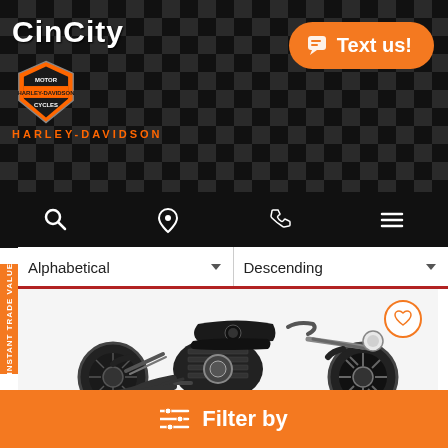[Figure (screenshot): CinCity Harley-Davidson dealership website screenshot showing logo, navigation bar, sort dropdowns (Alphabetical / Descending), a motorcycle listing card with a black Harley-Davidson Iron 883 sportster, a heart/favorite icon, an orange Text us button, an Instant Trade Value side tab, and an orange Filter by bar at the bottom.]